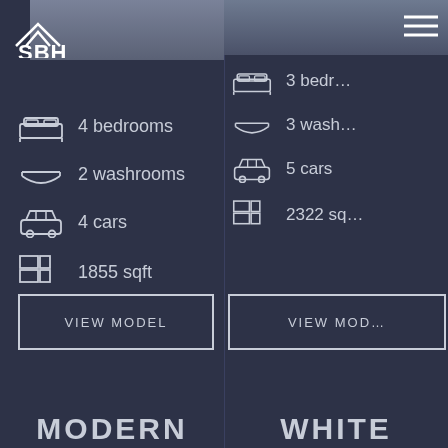[Figure (logo): SBH house logo with roof icon]
4 bedrooms
2 washrooms
4 cars
1855 sqft
VIEW MODEL
3 bedrooms
3 washrooms
5 cars
2322 sqft
VIEW MODEL
MODERN
WHITE